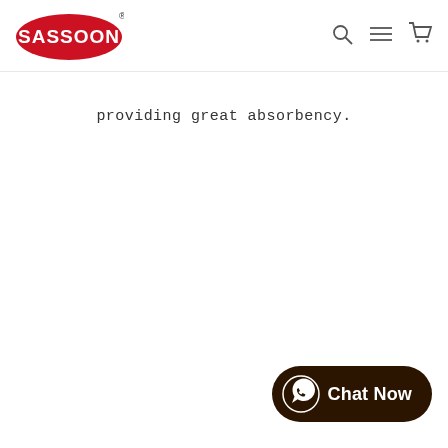[Figure (logo): Sassoon brand logo — white text on red oval with registered trademark symbol]
[Figure (other): Navigation icons: search (magnifying glass), hamburger menu, shopping cart]
providing great absorbency.
[Figure (other): WhatsApp Chat Now button in dark brown/chocolate color with phone icon]